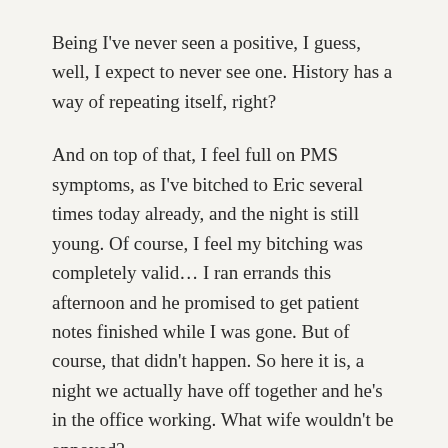Being I've never seen a positive, I guess, well, I expect to never see one. History has a way of repeating itself, right?
And on top of that, I feel full on PMS symptoms, as I've bitched to Eric several times today already, and the night is still young. Of course, I feel my bitching was completely valid… I ran errands this afternoon and he promised to get patient notes finished while I was gone. But of course, that didn't happen. So here it is, a night we actually have off together and he's in the office working. What wife wouldn't be annoyed?
Moody is really the only symptom I'm currently experiencing. I had quite a bit of cramping up until perhaps four days after the transfer, but this weekend I